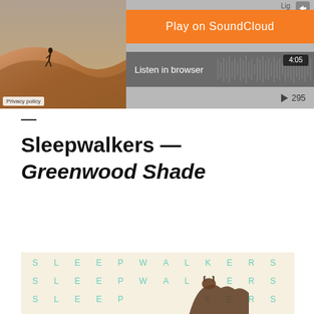[Figure (screenshot): SoundCloud embedded player showing 'Play on SoundCloud' orange button, 'Listen in browser' option with waveform, time 4:05, play count 295, album art showing desert dune with figure, and Privacy policy label.]
—
Sleepwalkers — Greenwood Shade
[Figure (photo): Album cover for Sleepwalkers showing repeated text 'SLEEPWALKERS' in teal/mint spaced letters on cream/off-white background with an animal (likely a dog or wolf) silhouette partially visible at the bottom right.]